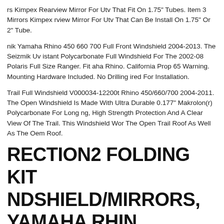rs Kimpex Rearview Mirror For Utv That Fit On 1.75" Tubes. Item 3 Mirrors Kimpex rview Mirror For Utv That Can Be Install On 1.75" Or 2" Tube.
nik Yamaha Rhino 450 660 700 Full Front Windshield 2004-2013. The Seizmik Uv istant Polycarbonate Full Windshield For The 2002-08 Polaris Full Size Ranger. Fit aha Rhino. California Prop 65 Warning. Mounting Hardware Included. No Drilling ired For Installation.
Trail Full Windshield V000034-12200t Rhino 450/660/700 2004-2011. The Open Windshield Is Made With Ultra Durable 0.177" Makrolon(r) Polycarbonate For Long ng, High Strength Protection And A Clear View Of The Trail. This Windshield Wor The Open Trail Roof As Well As The Oem Roof.
RECTION2 FOLDING KIT NDSHIELD/MIRRORS, YAMAHA RHINO 0 2004-07
1 Windshield Windshield Is Cut With Superior Cnc 5-axis Routerall Edges Are Su oth. Custom Bend Design For Maximum Rigidity. Extremely Durable Custom Nylon ted Clamps. All Hardware (nuts & Bolts) Is Stainless Steel...no Rust! Easy To Inst ng Required Comes Complete With All Mounting Hardware & Detailed Instruction